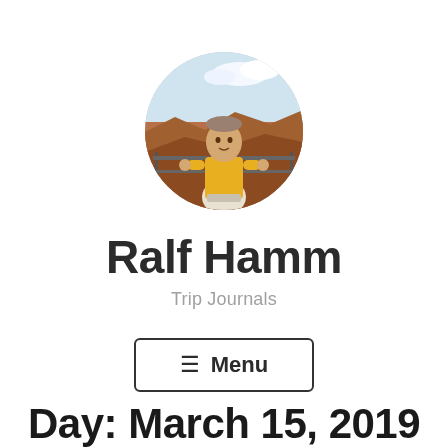[Figure (photo): Circular profile photo of a man in a yellow t-shirt standing outdoors with a canyon/landscape background]
Ralf Hamm
Trip Journals
☰ Menu
Day: March 15, 2019